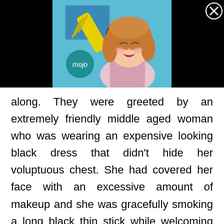[Figure (illustration): Anime-style illustration of a girl with orange/brown hair singing into a microphone, holding a yellow object. A circular 'mojo' logo is visible. The image is centered on a black background bar at the top of the page. A close (X) button is in the top-right corner.]
along. They were greeted by an extremely friendly middle aged woman who was wearing an expensive looking black dress that didn't hide her voluptuous chest. She had covered her face with an excessive amount of makeup and she was gracefully smoking a long black thin stick while welcoming Aleks into her establishment.